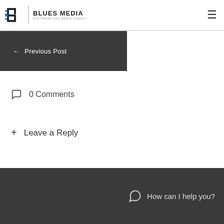Blues Media - Software and Media Agency
← Previous Post
0 Comments
+ Leave a Reply
How can I help you?